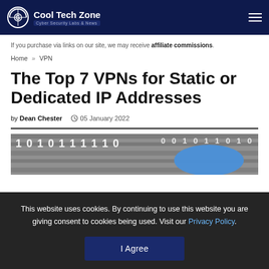Cool Tech Zone — Cyber Security Labs & News
If you purchase via links on our site, we may receive affiliate commissions.
Home » VPN
The Top 7 VPNs for Static or Dedicated IP Addresses
by Dean Chester  05 January 2022
[Figure (photo): Binary code digits (1s and 0s) on metallic cylinders with a blue element, representing digital/IP addresses theme]
This website uses cookies. By continuing to use this website you are giving consent to cookies being used. Visit our Privacy Policy.